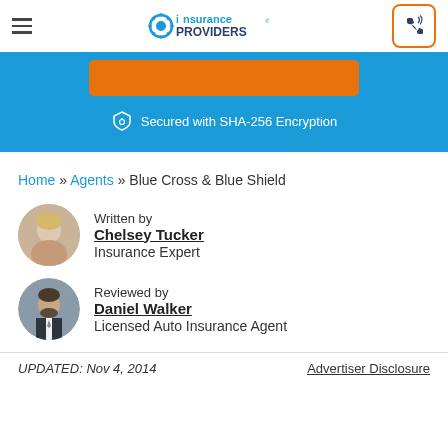Insurance Providers logo, hamburger menu, phone button
[Figure (other): Orange button and 'Secured with SHA-256 Encryption' text on blue background]
Secured with SHA-256 Encryption
Home » Agents » Blue Cross & Blue Shield
Written by Chelsey Tucker Insurance Expert
Reviewed by Daniel Walker Licensed Auto Insurance Agent
UPDATED: Nov 4, 2014
Advertiser Disclosure